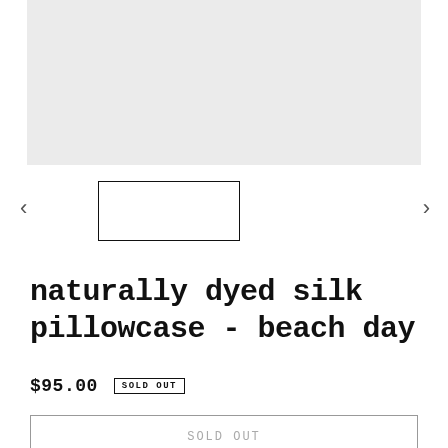[Figure (photo): Large gray placeholder image area for product photo]
[Figure (photo): Thumbnail image carousel with left/right arrows and one selected thumbnail outlined in black]
naturally dyed silk pillowcase - beach day
$95.00 SOLD OUT
SOLD OUT